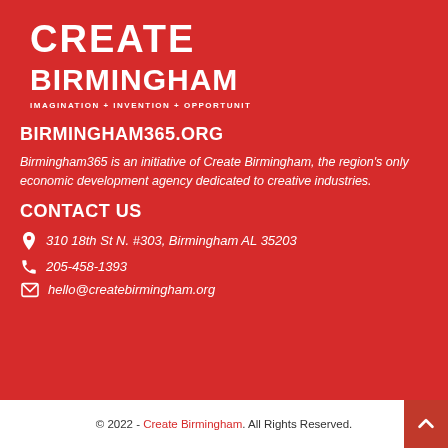[Figure (logo): Create Birmingham logo with text 'CREATE BIRMINGHAM' and tagline 'IMAGINATION + INVENTION + OPPORTUNITY' on red background]
BIRMINGHAM365.ORG
Birmingham365 is an initiative of Create Birmingham, the region's only economic development agency dedicated to creative industries.
CONTACT US
310 18th St N. #303, Birmingham AL 35203
205-458-1393
hello@createbirmingham.org
© 2022 - Create Birmingham. All Rights Reserved.